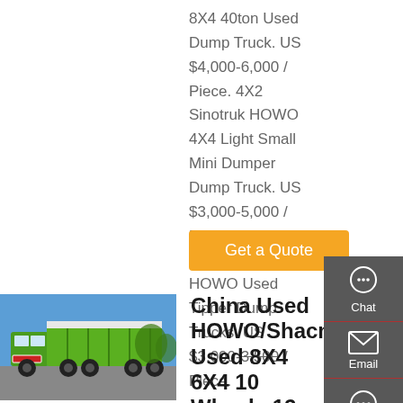8X4 40ton Used Dump Truck. US $4,000-6,000 / Piece. 4X2 Sinotruk HOWO 4X4 Light Small Mini Dumper Dump Truck. US $3,000-5,000 / Piece. 375HP 8X4 China HOWO Used Tipper Dump Trucks. US $3,000-3,500 / Piece.
[Figure (other): Orange 'Get a Quote' button]
[Figure (photo): Green HOWO dump truck parked outdoors, side view, blue sky background]
China Used HOWO/Shacman Used 8X4 6X4 10 Wheels 12 Wheels Dump/Dumper/Dump...
[Figure (infographic): Dark sidebar with Chat, Email, Contact, and Top navigation icons]